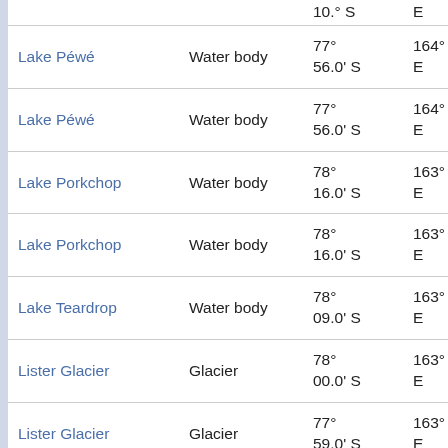| Name | Type | Latitude | Longitude | Elevation |
| --- | --- | --- | --- | --- |
| Lake Péwé | Water body | 77° 56.0' S | 164° 18.0' E | 15. at 6 |
| Lake Péwé | Water body | 77° 56.0' S | 164° 18.0' E | 15. at 6 |
| Lake Porkchop | Water body | 78° 16.0' S | 163° 08.0' E | 32. at 2 |
| Lake Porkchop | Water body | 78° 16.0' S | 163° 08.0' E | 32. at 2 |
| Lake Teardrop | Water body | 78° 09.0' S | 163° 55.0' E | 17. at 1 |
| Lister Glacier | Glacier | 78° 00.0' S | 163° 00.0' E | 17. at 2 |
| Lister Glacier | Glacier | 77° 59.0' S | 163° 05.0' E | 15. at 2 |
| Lister Glacier | Glacier | 77° 59.0' S | 163° 05.0' E | 15. |